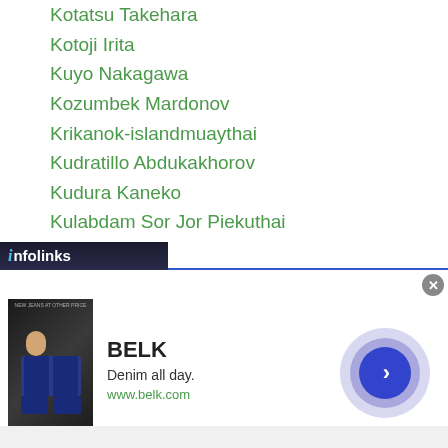Kotatsu Takehara
Kotoji Irita
Kuyo Nakagawa
Kozumbek Mardonov
Krikanok-islandmuaythai
Kudratillo Abdukakhorov
Kudura Kaneko
Kulabdam Sor Jor Piekuthai
Kumbati 6
Kumbati 7
Kumiko Seeser Ikehara
Kuntae Lee
Kuok Kun Ng
Kwang Koo Park
Kwanpichit Onesongchaigym
Kwanthai Sithmorseng
[Figure (screenshot): Infolinks advertisement bar with BELK brand ad showing 'Denim all day.' tagline and www.belk.com URL, with navigation arrow and close button]